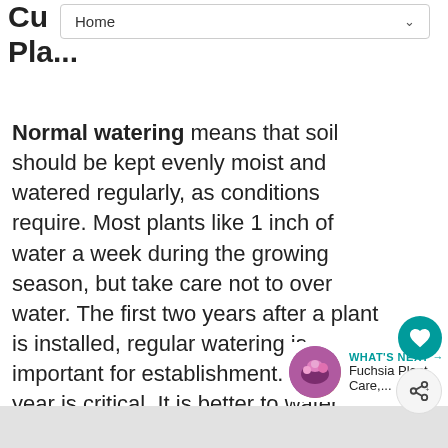Home
Cu… Pla…
Normal watering means that soil should be kept evenly moist and watered regularly, as conditions require. Most plants like 1 inch of water a week during the growing season, but take care not to over water. The first two years after a plant is installed, regular watering is important for establishment. The first year is critical. It is better to water once a week and water deeply, than to water frequently for a few minutes.
[Figure (other): What's Next widget showing Fuchsia Plant Care article thumbnail with teal arrow label]
[Figure (other): Bottom grey bar footer region]